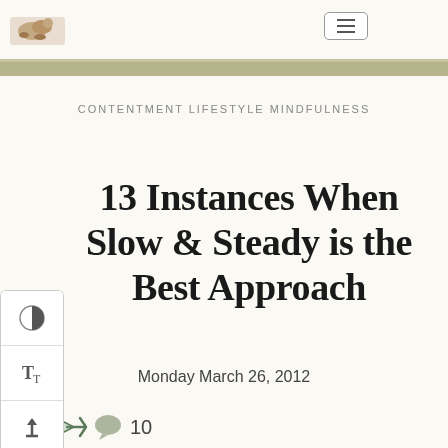[Figure (logo): Small illustrated logo with animal figure in top left]
Navigation hamburger menu button
CONTENTMENT LIFESTYLE MINDFULNESS
13 Instances When Slow & Steady is the Best Approach
Monday March 26, 2012
[Figure (infographic): Share icon, comment bubble icon with count 10]